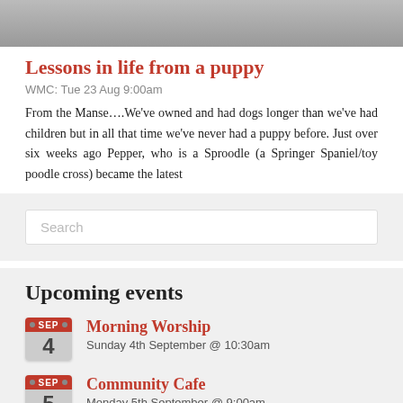[Figure (photo): Top portion of a photo, partially cropped, showing a dog/puppy with a red collar on a grey background.]
Lessons in life from a puppy
WMC: Tue 23 Aug 9:00am
From the Manse….We've owned and had dogs longer than we've had children but in all that time we've never had a puppy before. Just over six weeks ago Pepper, who is a Sproodle (a Springer Spaniel/toy poodle cross) became the latest
Search
Upcoming events
Morning Worship — Sunday 4th September @ 10:30am
Community Cafe — Monday 5th September @ 9:00am